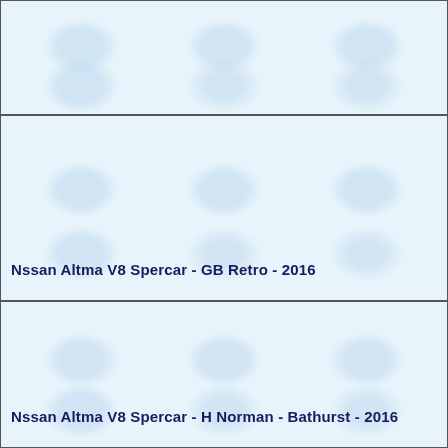[Figure (other): Top cell with light blue watermark background, no label text visible]
Nssan Altma V8 Spercar - GB Retro - 2016
Nssan Altma V8 Spercar - H Norman - Bathurst - 2016